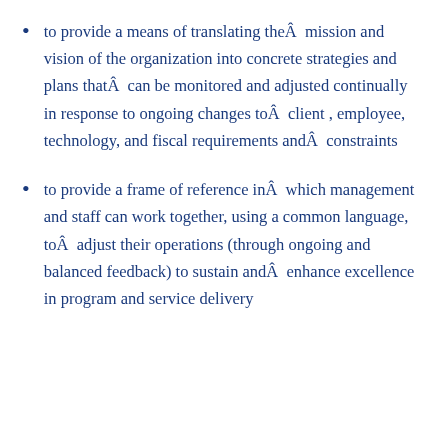to provide a means of translating theÂ mission and vision of the organization into concrete strategies and plans thatÂ can be monitored and adjusted continually in response to ongoing changes toÂ client , employee, technology, and fiscal requirements andÂ constraints
to provide a frame of reference inÂ which management and staff can work together, using a common language, toÂ adjust their operations (through ongoing and balanced feedback) to sustain andÂ enhance excellence in program and service delivery